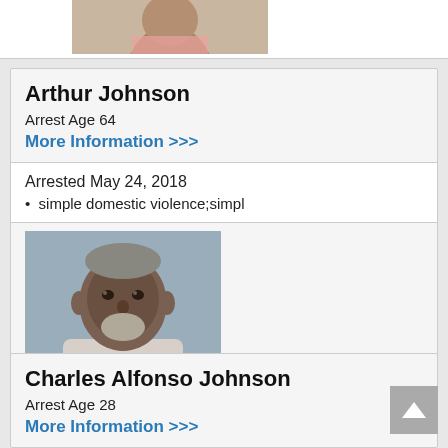[Figure (photo): Partial mugshot photo at top of page, cropped, showing upper portion of a person in pink clothing]
Arthur Johnson
Arrest Age 64
More Information >>>
Arrested May 24, 2018
simple domestic violence;simpl
[Figure (photo): Mugshot of an older Black man with white beard and short gray hair, wearing light pink or white clothing, neutral expression]
Charles Alfonso Johnson
Arrest Age 28
More Information >>>